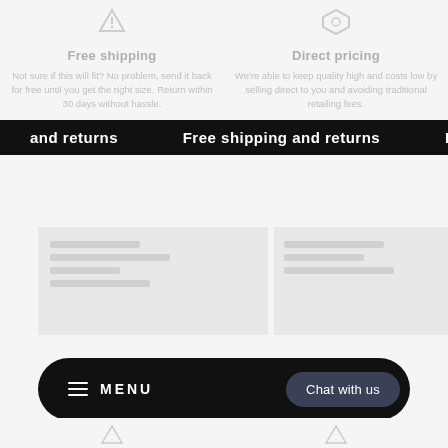Free shipping
Not sure if this will fit? No problem, send it back for free until you get the right size. Return within 30 days without hassle.
Direct pricing
We're able to keep quality high and costs low by selling direct to you and avoiding traditional retailing fees.
and returns   Free shipping and returns   Free ship
[Figure (screenshot): Two image placeholders showing blurred product content]
MENU   Chat with us